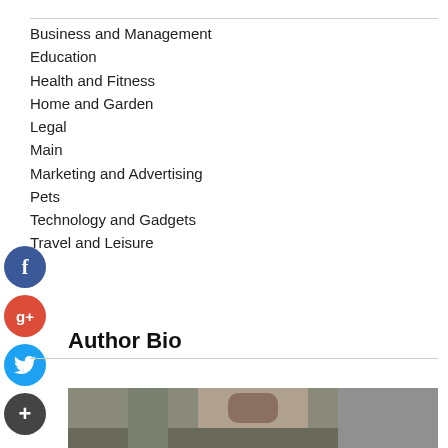Business and Management
Education
Health and Fitness
Home and Garden
Legal
Main
Marketing and Advertising
Pets
Technology and Gadgets
Travel and Leisure
Author Bio
[Figure (photo): Portrait photo of a man with dark hair, shown from shoulders up, in an indoor setting]